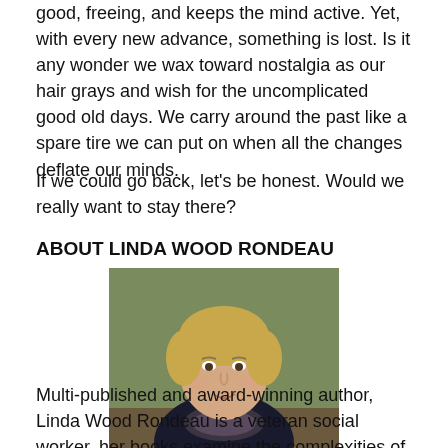good, freeing, and keeps the mind active. Yet, with every new advance, something is lost. Is it any wonder we wax toward nostalgia as our hair grays and wish for the uncomplicated good old days. We carry around the past like a spare tire we can put on when all the changes deflate our minds.
If we could go back, let's be honest. Would we really want to stay there?
ABOUT LINDA WOOD RONDEAU
[Figure (photo): Portrait photo of Linda Wood Rondeau, a woman with short blonde hair wearing a dark jacket and patterned scarf, photographed outdoors]
Multi-published and award-winning author, Linda Wood Rondeau is a veteran social worker, her books examine the complexities of human relationships. Her blog Snark and Sensibility at her site offers...